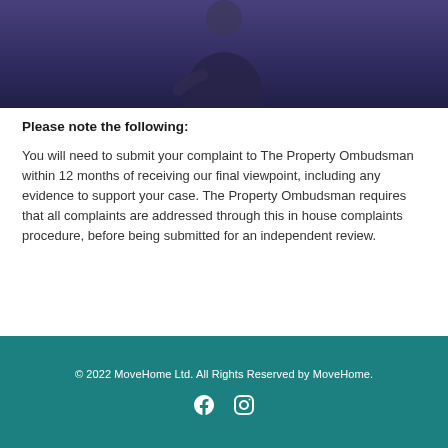[Figure (photo): Dark blue/purple toned photo banner showing a person in dark clothing, partially cropped at the top]
Please note the following:
You will need to submit your complaint to The Property Ombudsman within 12 months of receiving our final viewpoint, including any evidence to support your case. The Property Ombudsman requires that all complaints are addressed through this in house complaints procedure, before being submitted for an independent review.
© 2022 MoveHome Ltd. All Rights Reserved by MoveHome.